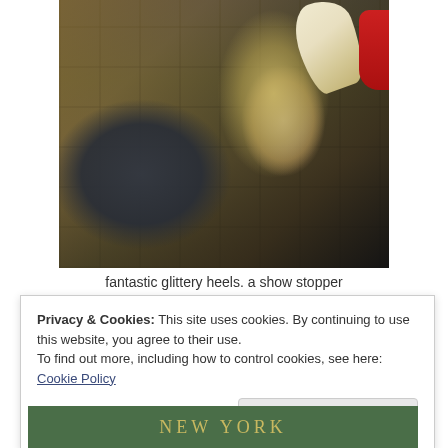[Figure (photo): Close-up photograph of glittery high-heel shoes displayed on a mirrored shelf. A sparkly multi-colored stiletto heel is prominent, along with a dark navy/black suede shoe on the left. Background shows a geometric grid shelf display with gold mirror surfaces and a red shoe partially visible at top right.]
fantastic glittery heels. a show stopper
Privacy & Cookies: This site uses cookies. By continuing to use this website, you agree to their use.
To find out more, including how to control cookies, see here:
Cookie Policy
[Figure (photo): Partial view of a green banner with 'NEW YORK' text in gold/yellow letters at the bottom of the page.]